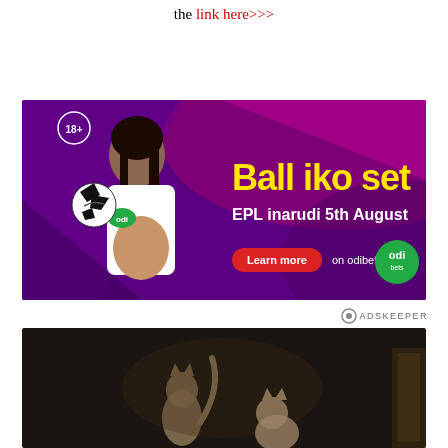the link here>>>
[Figure (photo): OdiBets advertisement banner featuring a pregnant woman in a white hoodie holding a soccer ball, with text 'Ball iko set EPL inarudi 5th August' and 'Learn more on odibets.com' on a purple background]
[Figure (photo): Photo of a cat or cats in low light, appearing to jump or play]